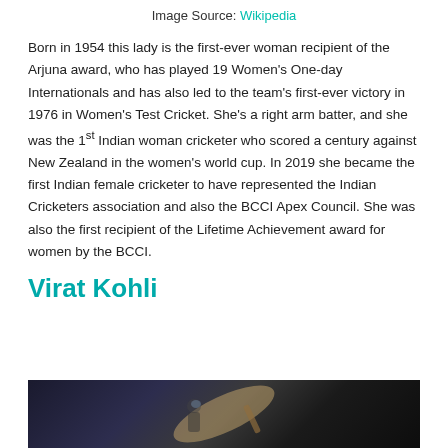Image Source: Wikipedia
Born in 1954 this lady is the first-ever woman recipient of the Arjuna award, who has played 19 Women's One-day Internationals and has also led to the team's first-ever victory in 1976 in Women's Test Cricket. She's a right arm batter, and she was the 1st Indian woman cricketer who scored a century against New Zealand in the women's world cup. In 2019 she became the first Indian female cricketer to have represented the Indian Cricketers association and also the BCCI Apex Council. She was also the first recipient of the Lifetime Achievement award for women by the BCCI.
Virat Kohli
[Figure (photo): Cricket player batting, dark stadium background]